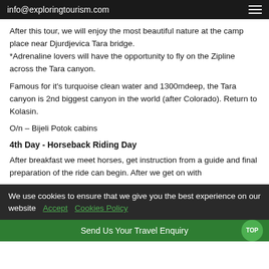info@exploringtourism.com
After this tour, we will enjoy the most beautiful nature at the camp place near Djurdjevica Tara bridge.
*Adrenaline lovers will have the opportunity to fly on the Zipline across the Tara canyon.
Famous for it's turquoise clean water and 1300mdeep, the Tara canyon is 2nd biggest canyon in the world (after Colorado). Return to Kolasin.
O/n – Bijeli Potok cabins
4th Day - Horseback Riding Day
After breakfast we meet horses, get instruction from a guide and final preparation of the ride can begin. After we get on with
We use cookies to ensure that we give you the best experience on our website  Accept  Cookies Policy
Send Us Your Travel Enquiry